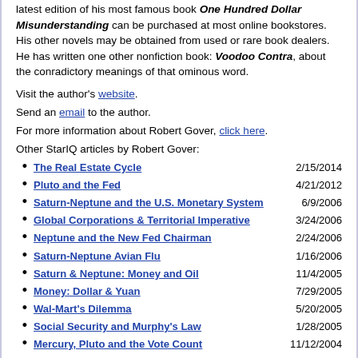latest edition of his most famous book One Hundred Dollar Misunderstanding can be purchased at most online bookstores. His other novels may be obtained from used or rare book dealers. He has written one other nonfiction book: Voodoo Contra, about the conradictory meanings of that ominous word.
Visit the author's website.
Send an email to the author.
For more information about Robert Gover, click here.
Other StarIQ articles by Robert Gover:
The Real Estate Cycle    2/15/2014
Pluto and the Fed    4/21/2012
Saturn-Neptune and the U.S. Monetary System    6/9/2006
Global Corporations & Territorial Imperative    3/24/2006
Neptune and the New Fed Chairman    2/24/2006
Saturn-Neptune Avian Flu    1/16/2006
Saturn & Neptune: Money and Oil    11/4/2005
Money: Dollar & Yuan    7/29/2005
Wal-Mart's Dilemma    5/20/2005
Social Security and Murphy's Law    1/28/2005
Mercury, Pluto and the Vote Count    11/12/2004
Vietnam, Iraq, Saturn & Pluto    10/8/2004
Planetary Aspects & Belief    7/16/2004